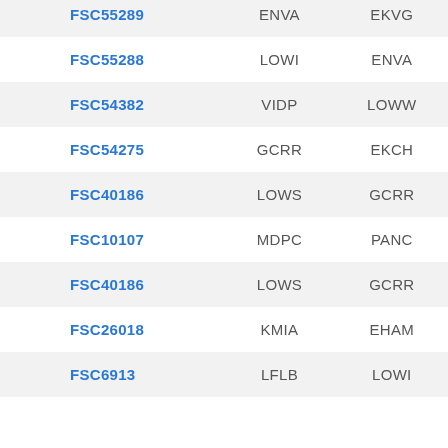| ID | Departure | Arrival |
| --- | --- | --- |
| FSC55289 | ENVA | EKVG |
| FSC55288 | LOWI | ENVA |
| FSC54382 | VIDP | LOWW |
| FSC54275 | GCRR | EKCH |
| FSC40186 | LOWS | GCRR |
| FSC10107 | MDPC | PANC |
| FSC40186 | LOWS | GCRR |
| FSC26018 | KMIA | EHAM |
| FSC6913 | LFLB | LOWI |